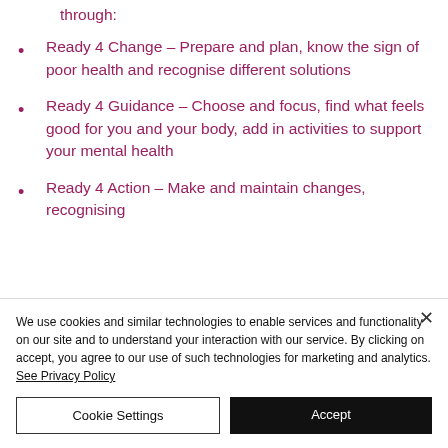through:
Ready 4 Change – Prepare and plan, know the sign of poor health and recognise different solutions
Ready 4 Guidance – Choose and focus, find what feels good for you and your body, add in activities to support your mental health
Ready 4 Action – Make and maintain changes, recognising
We use cookies and similar technologies to enable services and functionality on our site and to understand your interaction with our service. By clicking on accept, you agree to our use of such technologies for marketing and analytics. See Privacy Policy
Cookie Settings
Accept